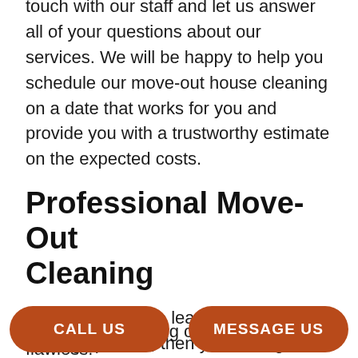touch with our staff and let us answer all of your questions about our services. We will be happy to help you schedule our move-out house cleaning on a date that works for you and provide you with a trustworthy estimate on the expected costs.
Professional Move-Out Cleaning
When you want to leave your property looking spotless, then you can't go wrong with our home and apartment move-out cleaning. We have a wealth of experience in the cleaning industry and access to premium cleaning
old property looking completely flawless.